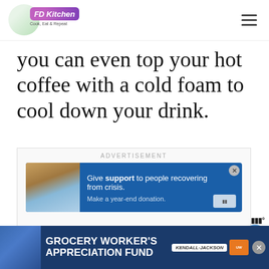FD Kitchen - Cook, Eat & Repeat
you can even top your hot coffee with a cold foam to cool down your drink.
[Figure (screenshot): Advertisement box with 'ADVERTISEMENT' label, showing a blue banner ad with two hands holding and text 'Give support to people recovering from crisis. Make a year-end donation.' with a close button and credit card icon.]
[Figure (screenshot): Bottom advertisement bar: Grocery Worker's Appreciation Fund ad with Kendall-Jackson and United Way logos, and a close button. WW logo visible at bottom right.]